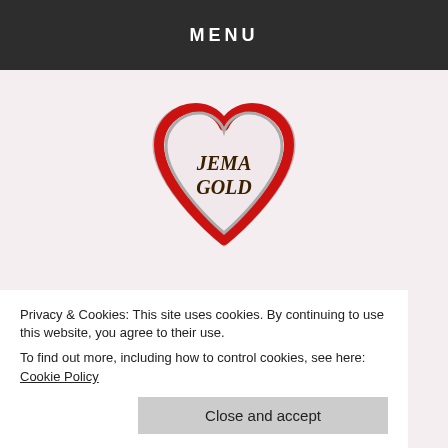MENU
[Figure (logo): Jema Gold heart-shaped logo: a red outlined heart containing the text 'JEMA GOLD' in dark brown serif font]
FOCUS ON THE
Privacy & Cookies: This site uses cookies. By continuing to use this website, you agree to their use.
To find out more, including how to control cookies, see here: Cookie Policy
Close and accept